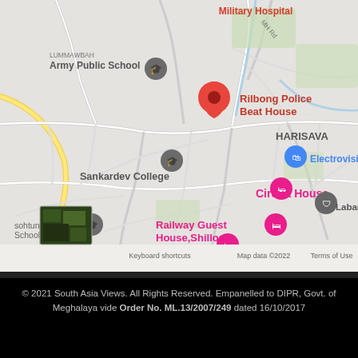[Figure (map): Google Maps screenshot showing Rilbong Police Beat House location in Shillong, Meghalaya. Visible landmarks include Military Hospital, Army Public School (LUMMAWBAH), Sankardev College, Circuit House, Railway Guest House Shillong, Treebo La Castle Residency, Electrovision, Laban Beat, HARISAVA locality, and LABAN area. A red location pin marks Rilbong Police Beat House at center. Map data ©2022. Zoom controls (+/-) visible at bottom right. Satellite thumbnail at bottom left.]
© 2021 South Asia Views. All Rights Reserved. Empanelled to DIPR, Govt. of Meghalaya vide Order No. ML.13/2007/249 dated 16/10/2017